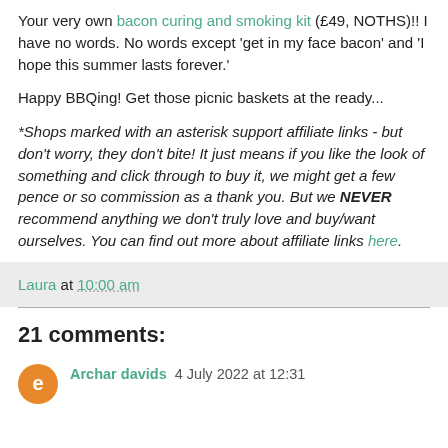Your very own bacon curing and smoking kit (£49, NOTHS)!! I have no words. No words except 'get in my face bacon' and 'I hope this summer lasts forever.'
Happy BBQing! Get those picnic baskets at the ready...
*Shops marked with an asterisk support affiliate links - but don't worry, they don't bite! It just means if you like the look of something and click through to buy it, we might get a few pence or so commission as a thank you. But we NEVER recommend anything we don't truly love and buy/want ourselves. You can find out more about affiliate links here.
Laura at 10:00 am
21 comments:
Archar davids  4 July 2022 at 12:31